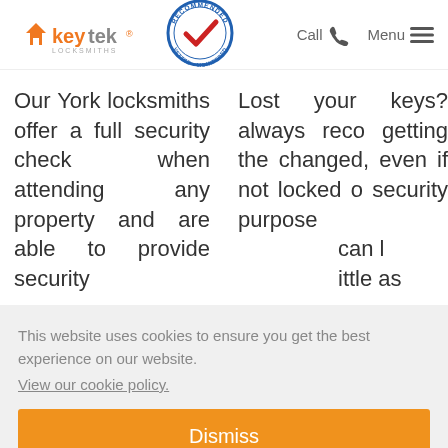[Figure (logo): Keytek Locksmiths logo with house icon in orange and grey text]
[Figure (logo): Recommended Vetted Monitored circular badge with blue border and red checkmark]
Call  Menu
Our York locksmiths offer a full security check when attending any property and are able to provide security
Lost your keys? always reco getting the changed, even if not locked o security purpose can l ittle as
This website uses cookies to ensure you get the best experience on our website.
View our cookie policy.
Dismiss